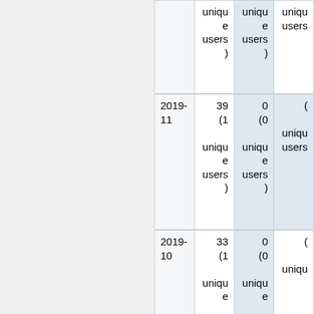|  | unique users) | unique users) | unique users) |
| --- | --- | --- | --- |
|  | unique
users) | unique
users) | unique
users) |
| 2019-11 | 39
(1
unique
users) | 0
(0
unique
users) | (0
unique
users) |
| 2019-10 | 33
(1
unique | 0
(0
unique | (0
unique |